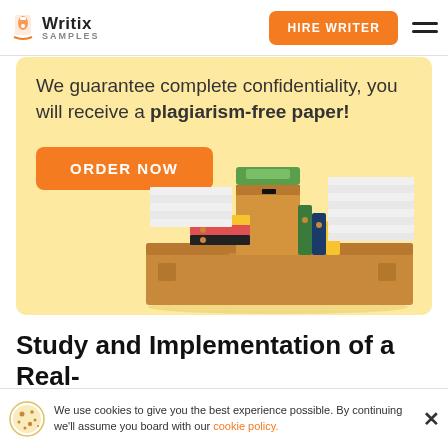Writix SAMPLES | HIRE WRITER
[Figure (infographic): Banner with yellow background showing 'We guarantee complete confidentiality, you will receive a plagiarism-free paper!' text, an ORDER NOW orange button, and an illustration of cardboard boxes with stacked binders and papers]
We guarantee complete confidentiality, you will receive a plagiarism-free paper!
Study and Implementation of a Real-Ti
Ab
We use cookies to give you the best experience possible. By continuing we'll assume you board with our cookie policy.